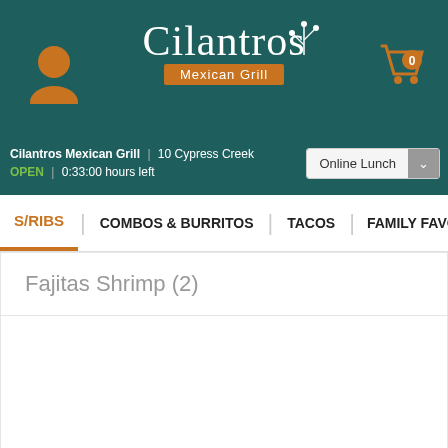[Figure (logo): Cilantros Mexican Grill logo with plant illustration on teal background]
Cilantros Mexican Grill | 10 Cypress Creek
OPEN | 0:33:00 hours left
Online Lunch
S/RIBS | COMBOS & BURRITOS | TACOS | FAMILY FAVORITE
Fajitas Shrimp (2)